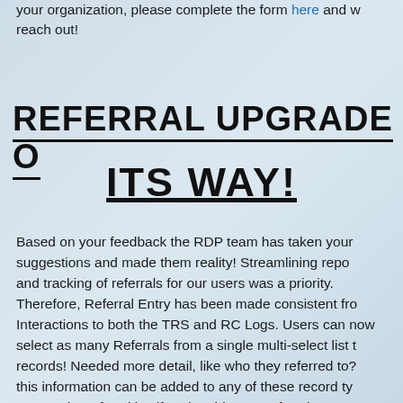your organization, please complete the form here and w... reach out!
REFERRAL UPGRADE O... ITS WAY!
Based on your feedback the RDP team has taken your suggestions and made them reality! Streamlining repo... and tracking of referrals for our users was a priority. Therefore, Referral Entry has been made consistent fro... Interactions to both the TRS and RC Logs. Users can now select as many Referrals from a single multi-select list t... records! Needed more detail, like who they referred to?... this information can be added to any of these record ty... access the referral itself. Using this new referral process... make it easier to pull a report of Referrals made withou... having to pull Interactions on TRS logs, report for th...